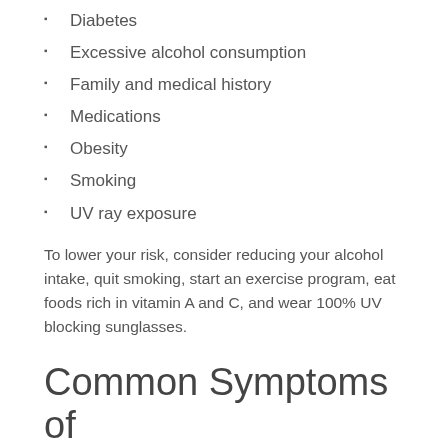Diabetes
Excessive alcohol consumption
Family and medical history
Medications
Obesity
Smoking
UV ray exposure
To lower your risk, consider reducing your alcohol intake, quit smoking, start an exercise program, eat foods rich in vitamin A and C, and wear 100% UV blocking sunglasses.
Common Symptoms of Cataracts
If you have cataracts, you may experience some common symptoms like:
Blurry vision